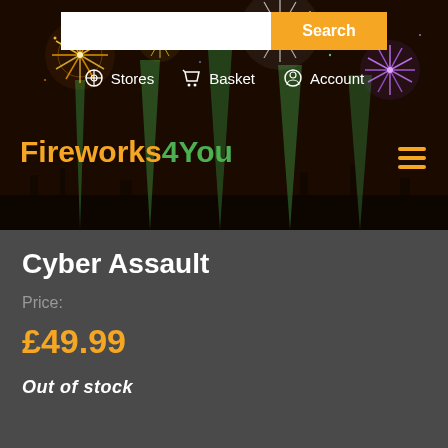[Figure (screenshot): Fireworks4You website header banner showing a fireworks display at night with colorful explosions and light beams over a dark sky]
Search | Stores | Basket | Account
Fireworks4You
Cyber Assault
Price:
£49.99
Out of stock